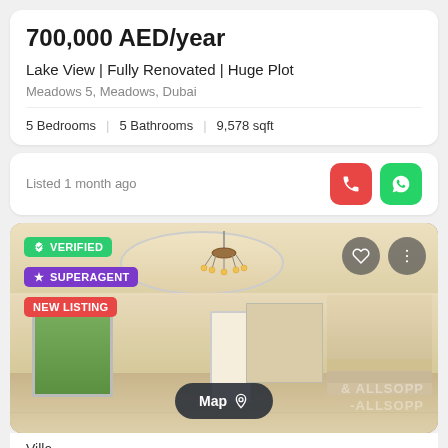700,000 AED/year
Lake View | Fully Renovated | Huge Plot
Meadows 5, Meadows, Dubai
5 Bedrooms  |  5 Bathrooms  |  9,578 sqft
Listed 1 month ago
[Figure (photo): Interior photo of a renovated villa room with circular ceiling detail, chandelier, large windows, and marble flooring. Badges: VERIFIED, SUPERAGENT, NEW LISTING. Map button and ALLSOPP & ALLSOPP watermark visible.]
Villa